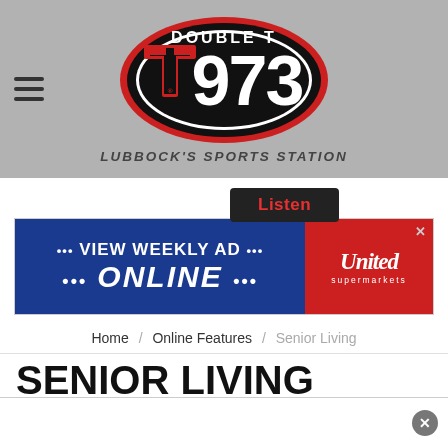Double T 97.3 — LUBBOCK'S SPORTS STATION
[Figure (logo): Double T 97.3 radio station logo — oval red and black logo with Texas Tech T and '973', tagline 'LUBBOCK'S SPORTS STATION']
Listen
[Figure (screenshot): United Supermarkets advertisement banner — VIEW WEEKLY AD ONLINE with United supermarkets logo on red background]
Home / Online Features / Senior Living
SENIOR LIVING
WATCH LIVE OR ON-DEMAND